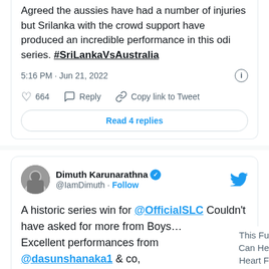Agreed the aussies have had a number of injuries but Srilanka with the crowd support have produced an incredible performance in this odi series. #SriLankaVsAustralia
5:16 PM · Jun 21, 2022
664  Reply  Copy link to Tweet
Read 4 replies
Dimuth Karunarathna @IamDimuth · Follow
A historic series win for @OfficialSLC Couldn't have asked for more from Boys… Excellent performances from @dasunshanaka1 & co, Let's win next one with high note👏👏